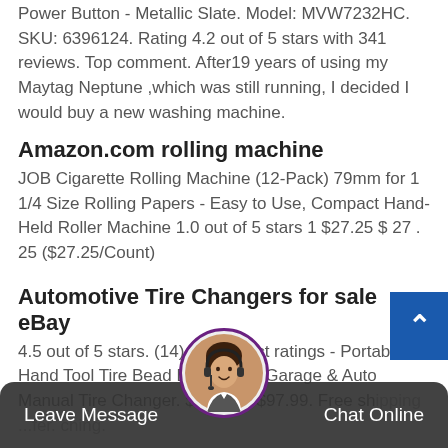Power Button - Metallic Slate. Model: MVW7232HC. SKU: 6396124. Rating 4.2 out of 5 stars with 341 reviews. Top comment. After19 years of using my Maytag Neptune ,which was still running, I decided I would buy a new washing machine.
Amazon.com rolling machine
JOB Cigarette Rolling Machine (12-Pack) 79mm for 1 1/4 Size Rolling Papers - Easy to Use, Compact Hand-Held Roller Machine 1.0 out of 5 stars 1 $27.25 $ 27 . 25 ($27.25/Count)
Automotive Tire Changers for sale eBay
4.5 out of 5 stars. (14) 14 product ratings - Portable Hand Tool Tire Bead Breaker for Garage & Auto Manual Tire Changer. $... Was: $97.99. Free shipping ... ching.
[Figure (screenshot): Chat support widget at bottom of page with 'Leave Message' on left, agent avatar in center, and 'Chat Online' on right on a dark semi-transparent bar. A blue scroll-to-top button is visible on the right side.]